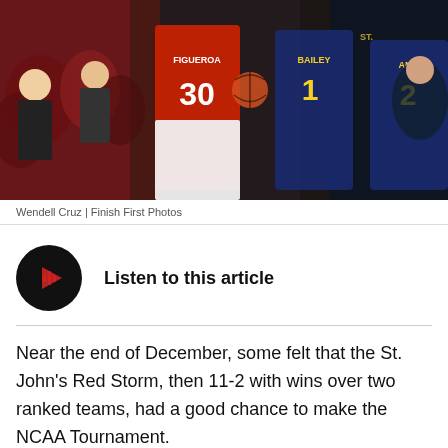[Figure (photo): Basketball game action photo showing players in red jerseys (number 30, FIGUEROA) and navy jerseys (number 1 BAILEY, number 2 AMIN) competing, with crowd in background]
Wendell Cruz | Finish First Photos
[Figure (other): Audio player button - dark circular play button with audio waveform icon in red]
Listen to this article
Near the end of December, some felt that the St. John's Red Storm, then 11-2 with wins over two ranked teams, had a good chance to make the NCAA Tournament.